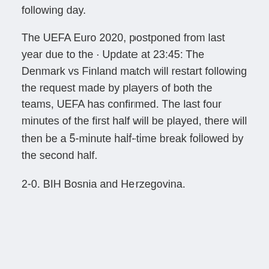following day.
The UEFA Euro 2020, postponed from last year due to the · Update at 23:45: The Denmark vs Finland match will restart following the request made by players of both the teams, UEFA has confirmed. The last four minutes of the first half will be played, there will then be a 5-minute half-time break followed by the second half.
2-0. BIH Bosnia and Herzegovina.